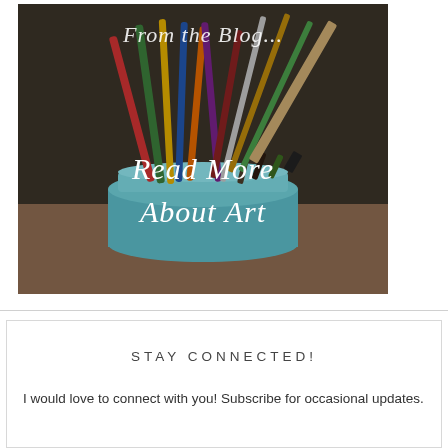[Figure (photo): Photo of art supplies — colored pencils and paint brushes in a blue mason jar, with cursive white text overlay reading 'From the Blog...' at the top and 'Read More About Art' in the center.]
STAY CONNECTED!
I would love to connect with you! Subscribe for occasional updates.